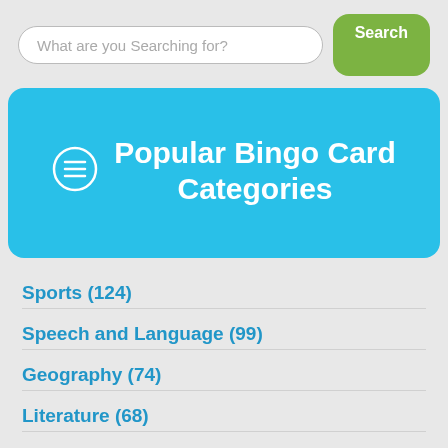What are you Searching for?
Popular Bingo Card Categories
Sports (124)
Speech and Language (99)
Geography (74)
Literature (68)
History (64)
… and dozens more!